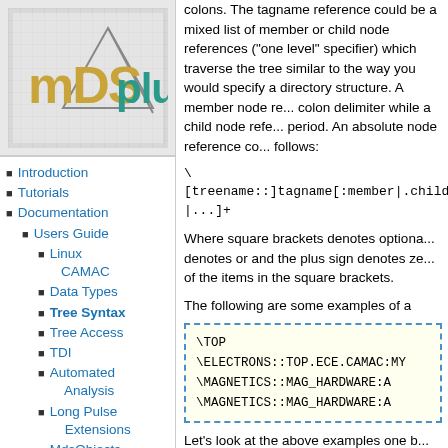[Figure (logo): MDSplus logo with stylized text on grid background]
Introduction
Tutorials
Documentation
Users Guide
Linux CAMAC
Data Types
Tree Syntax
Tree Access
TDI
Automated Analysis
Long Pulse Extensions
MdsObjects
colons. The tagname reference could be a mixed list of member or child node references ("one level" specifier) which traverse the tree similar to the way you would specify a directory structure. A member node reference uses a colon delimiter while a child node reference uses a period. An absolute node reference could be as follows:
\[treename::]tagname[:member|.child |...]+
Where square brackets denotes optional, the pipe denotes or and the plus sign denotes zero or more of the items in the square brackets.
The following are some examples of a
\TOP
\ELECTRONS::TOP.ECE.CAMAC:MY
\MAGNETICS::MAG_HARDWARE:A
\MAGNETICS::MAG_HARDWARE:A
Let's look at the above examples one by one. \TOP, is a very simple tag reference and node of an MDSplus tree. In MDSplus